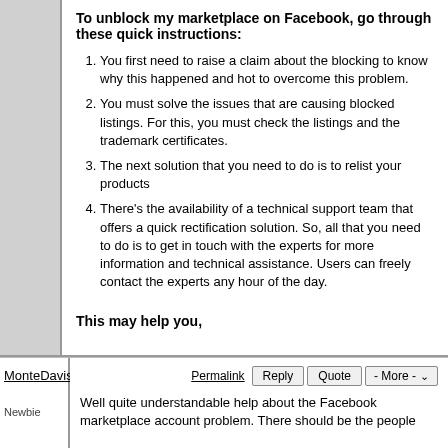To unblock my marketplace on Facebook, go through these quick instructions:
You first need to raise a claim about the blocking to know why this happened and hot to overcome this problem.
You must solve the issues that are causing blocked listings. For this, you must check the listings and the trademark certificates.
The next solution that you need to do is to relist your products
There's the availability of a technical support team that offers a quick rectification solution. So, all that you need to do is to get in touch with the experts for more information and technical assistance. Users can freely contact the experts any hour of the day.
This may help you,

Rachel Gomez
MonteDavis
Newbie
Well quite understandable help about the Facebook marketplace account problem. There should be the people